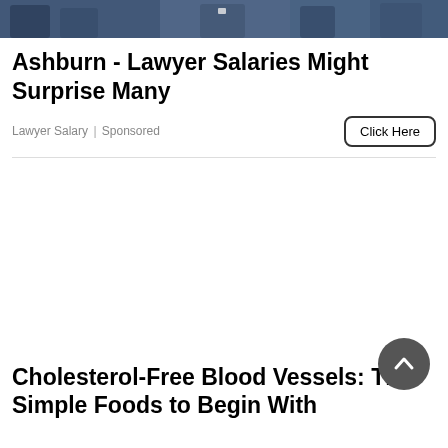[Figure (photo): Partial photo of people in business/formal attire, cropped at top of page]
Ashburn - Lawyer Salaries Might Surprise Many
Lawyer Salary | Sponsored
Click Here
Cholesterol-Free Blood Vessels: The Simple Foods to Begin With